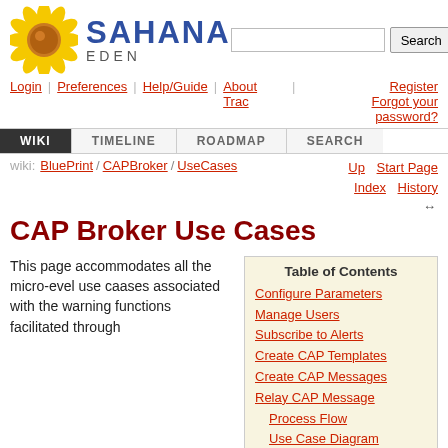[Figure (logo): Sahana Eden sunflower logo with SAHANA EDEN text and search bar]
Login | Preferences | Help/Guide | About Trac | Register | Forgot your password?
WIKI | TIMELINE | ROADMAP | SEARCH
wiki: BluePrint / CAPBroker / UseCases  Up  Start Page  Index  History
CAP Broker Use Cases
This page accommodates all the micro-evel use caases associated with the warning functions facilitated through
| Table of Contents |
| --- |
| Configure Parameters |
| Manage Users |
| Subscribe to Alerts |
| Create CAP Templates |
| Create CAP Messages |
| Relay CAP Message |
| Process Flow |
| Use Case Diagram |